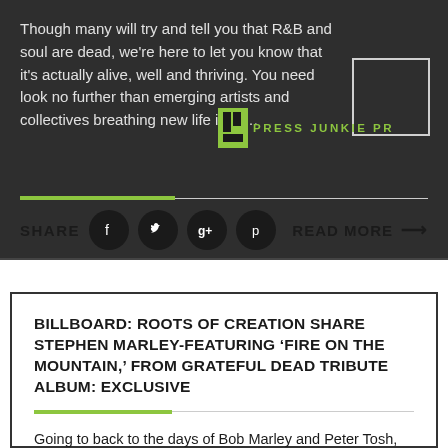Though many will try and tell you that R&B and soul are dead, we're here to let you know that it's actually alive, well and thriving. You need look no further than emerging artists and collectives breathing new life into …
[Figure (logo): Press Junkie PR logo with green icon and text]
SHARE
READ MORE →
BILLBOARD: ROOTS OF CREATION SHARE STEPHEN MARLEY-FEATURING 'FIRE ON THE MOUNTAIN,' FROM GRATEFUL DEAD TRIBUTE ALBUM: EXCLUSIVE
Going to back to the days of Bob Marley and Peter Tosh, reggae music was brought to the world with authentic